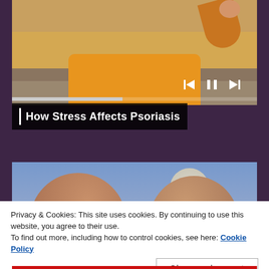[Figure (screenshot): Video player showing a person in a yellow sweater sitting on a couch, with playback controls (skip back, pause, skip forward) visible in the upper right. A progress bar is shown below the video frame.]
How Stress Affects Psoriasis
[Figure (photo): Photo of two elderly people with curly hair close together, with a large moon visible in the background against a blue sky.]
Privacy & Cookies: This site uses cookies. By continuing to use this website, you agree to their use.
To find out more, including how to control cookies, see here: Cookie Policy
Close and accept